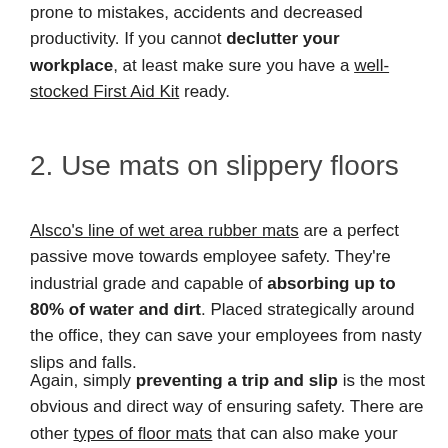prone to mistakes, accidents and decreased productivity. If you cannot declutter your workplace, at least make sure you have a well-stocked First Aid Kit ready.
2. Use mats on slippery floors
Alsco's line of wet area rubber mats are a perfect passive move towards employee safety. They're industrial grade and capable of absorbing up to 80% of water and dirt. Placed strategically around the office, they can save your employees from nasty slips and falls.
Again, simply preventing a trip and slip is the most obvious and direct way of ensuring safety. There are other types of floor mats that can also make your workplace safer.